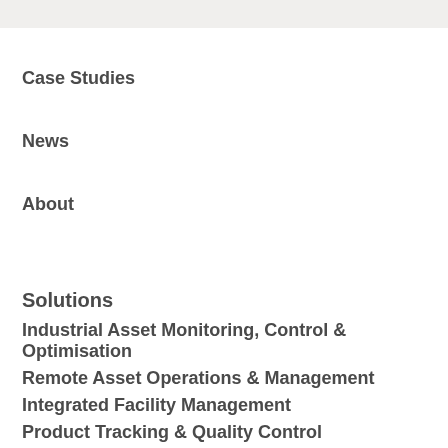Case Studies
News
About
Solutions
Industrial Asset Monitoring, Control & Optimisation
Remote Asset Operations & Management
Integrated Facility Management
Product Tracking & Quality Control
Energy Automation & Optimisation